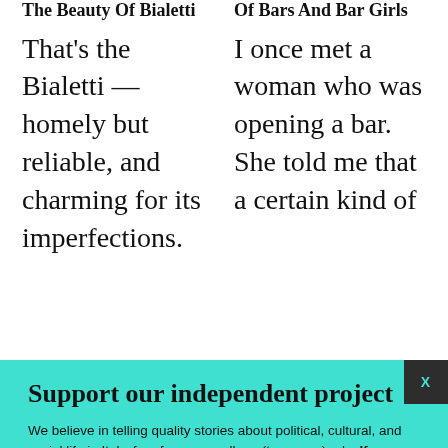The Beauty Of Bialetti
That's the Bialetti — homely but reliable, and charming for its imperfections.
Of Bars And Bar Girls
I once met a woman who was opening a bar. She told me that a certain kind of
Support our independent project
We believe in telling quality stories about political, cultural, and social life in Italy, free from paywalls or (too many) ads. If you enjoy reading, we hope you'll consider donating or subscribing to our Patreon community. Thank you.
BECOME A PATRON
DONATE
Follow us: Facebook Instagram Twitter